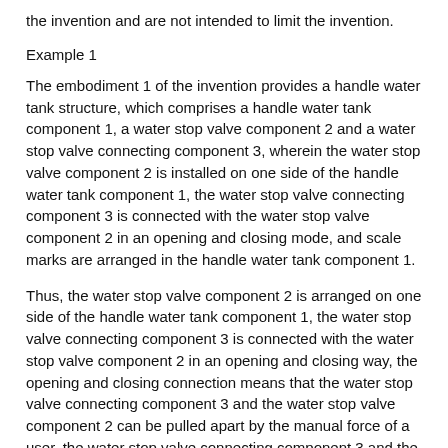the invention and are not intended to limit the invention.
Example 1
The embodiment 1 of the invention provides a handle water tank structure, which comprises a handle water tank component 1, a water stop valve component 2 and a water stop valve connecting component 3, wherein the water stop valve component 2 is installed on one side of the handle water tank component 1, the water stop valve connecting component 3 is connected with the water stop valve component 2 in an opening and closing mode, and scale marks are arranged in the handle water tank component 1.
Thus, the water stop valve component 2 is arranged on one side of the handle water tank component 1, the water stop valve connecting component 3 is connected with the water stop valve component 2 in an opening and closing way, the opening and closing connection means that the water stop valve connecting component 3 and the water stop valve component 2 can be pulled apart by the manual force of a user, the water stop valve connecting component 3 and the